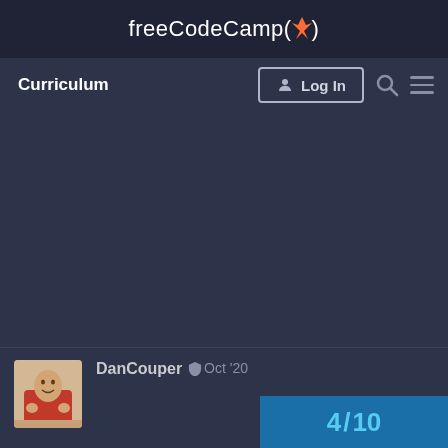freeCodeCamp(🔥)
Curriculum
Log In
DanCouper  Oct '20
4 / 10